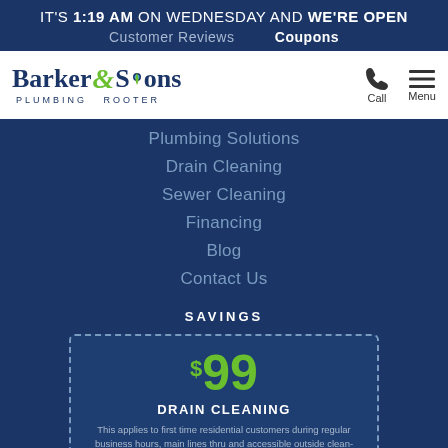IT'S 1:19 AM ON WEDNESDAY AND WE'RE OPEN
Customer Reviews   Coupons
[Figure (logo): Barker & Sons Plumbing Rooter logo with green ampersand and water drop]
Plumbing Solutions
Drain Cleaning
Sewer Cleaning
Financing
Blog
Contact Us
SAVINGS
$99 DRAIN CLEANING
This applies to first time residential customers during regular business hours, main lines thru and accessible outside clean-out, cabling only